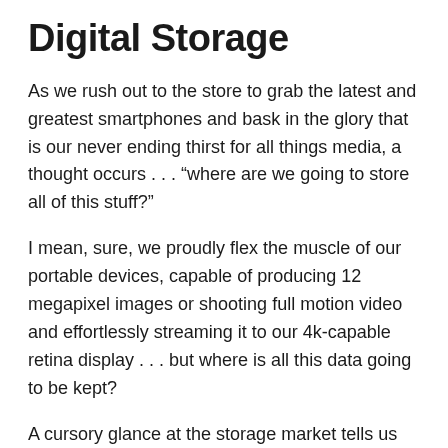Digital Storage
As we rush out to the store to grab the latest and greatest smartphones and bask in the glory that is our never ending thirst for all things media, a thought occurs . . . “where are we going to store all of this stuff?”
I mean, sure, we proudly flex the muscle of our portable devices, capable of producing 12 megapixel images or shooting full motion video and effortlessly streaming it to our 4k-capable retina display . . . but where is all this data going to be kept?
A cursory glance at the storage market tells us that any portable devices with any real storage capacity come at a premium. Ok, we get that, so